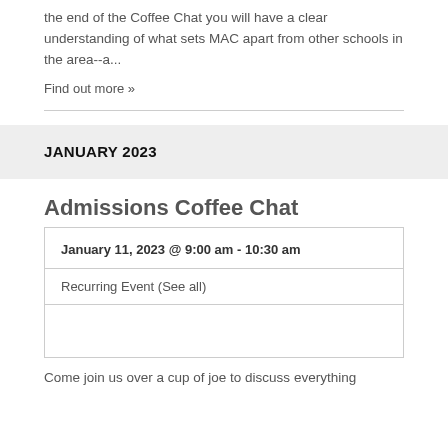the end of the Coffee Chat you will have a clear understanding of what sets MAC apart from other schools in the area--a...
Find out more »
JANUARY 2023
Admissions Coffee Chat
January 11, 2023 @ 9:00 am - 10:30 am
Recurring Event (See all)
Come join us over a cup of joe to discuss everything